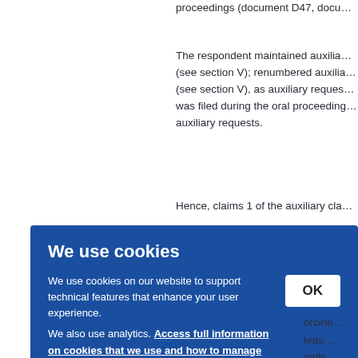proceedings (document D47, docu…
The respondent maintained auxilia… (see section V); renumbered auxilia… (see section V), as auxiliary reques… was filed during the oral proceeding… auxiliary requests.
Hence, claims 1 of the auxiliary cla…
We use cookies
We use cookies on our website to support technical features that enhance your user experience. We also use analytics. Access full information on cookies that we use and how to manage them
OK
orcine… leas… nally… n to e… tion."